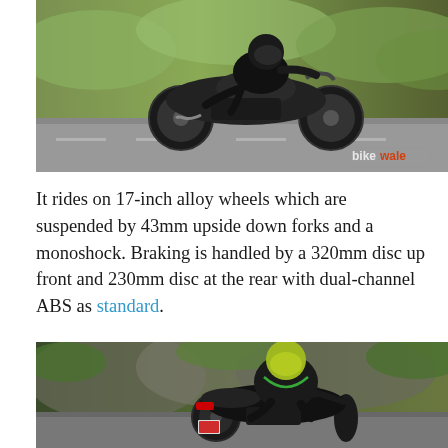[Figure (photo): A rider on a naked street motorcycle (dark colored, possibly Husqvarna or similar) riding on a road with green blurred background, side profile action shot. BikeWale watermark in bottom right corner.]
It rides on 17-inch alloy wheels which are suspended by 43mm upside down forks and a monoshock. Braking is handled by a 320mm disc up front and 230mm disc at the rear with dual-channel ABS as standard.
[Figure (photo): A rider on a dark naked motorcycle riding on a winding road with rocky hillside and green foliage in the background, rear three-quarter view action shot.]